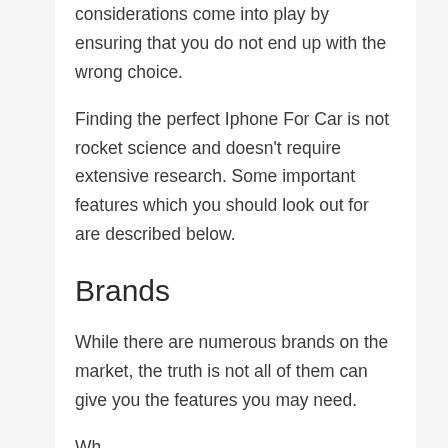considerations come into play by ensuring that you do not end up with the wrong choice.
Finding the perfect Iphone For Car is not rocket science and doesn't require extensive research. Some important features which you should look out for are described below.
Brands
While there are numerous brands on the market, the truth is not all of them can give you the features you may need.
Wh...